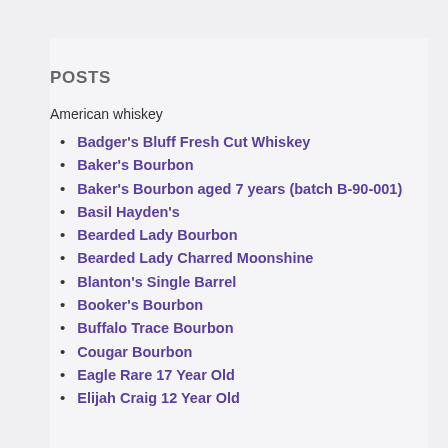POSTS
American whiskey
Badger's Bluff Fresh Cut Whiskey
Baker's Bourbon
Baker's Bourbon aged 7 years (batch B-90-001)
Basil Hayden's
Bearded Lady Bourbon
Bearded Lady Charred Moonshine
Blanton's Single Barrel
Booker's Bourbon
Buffalo Trace Bourbon
Cougar Bourbon
Eagle Rare 17 Year Old
Elijah Craig 12 Year Old